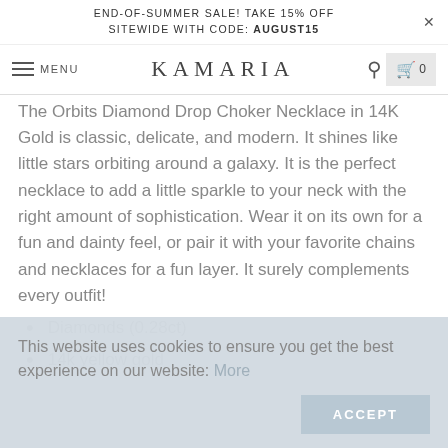END-OF-SUMMER SALE! TAKE 15% OFF SITEWIDE WITH CODE: AUGUST15
MENU | KAMARIA | 0
The Orbits Diamond Drop Choker Necklace in 14K Gold is classic, delicate, and modern. It shines like little stars orbiting around a galaxy. It is the perfect necklace to add a little sparkle to your neck with the right amount of sophistication. Wear it on its own for a fun and dainty feel, or pair it with your favorite chains and necklaces for a fun layer. It surely complements every outfit!
Diamonds (0.28ct)
14k yellow gold
This website uses cookies to ensure you get the best experience on our website: More